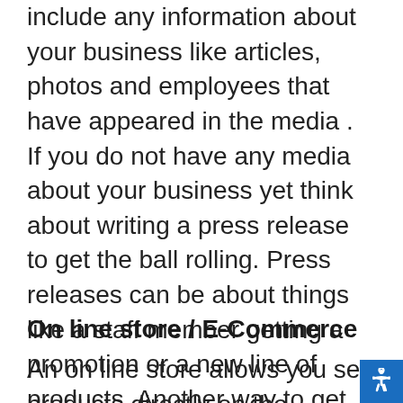include any information about your business like articles, photos and employees that have appeared in the media .  If you do not have any media about your business yet think about writing a press release to get the ball rolling. Press releases can be about things like a staff member getting a promotion or a new line of products  Another way to get press include creating a video and posting it on youtube. The video does not need be Hollywood quality, just make it interesting and give your contact info at the end of the video.
On line store / E-Commerce
An on line store allows you sell products directly on the internet 24 hours a day/7 days